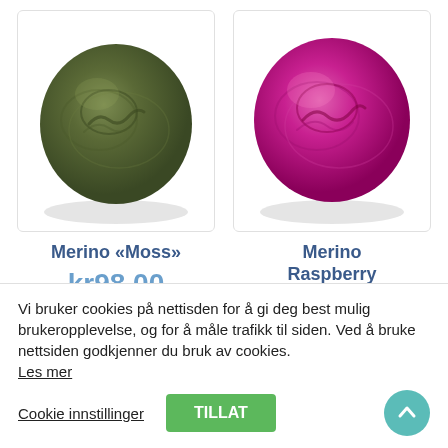[Figure (photo): Ball of dark olive/moss green merino wool roving on white background]
[Figure (photo): Ball of bright raspberry/magenta merino wool roving on white background]
Merino «Moss»
Merino Raspberry
kr98.00
Vi bruker cookies på nettisden for å gi deg best mulig brukeropplevelse, og for å måle trafikk til siden. Ved å bruke nettsiden godkjenner du bruk av cookies. Les mer
Cookie innstillinger
TILLAT